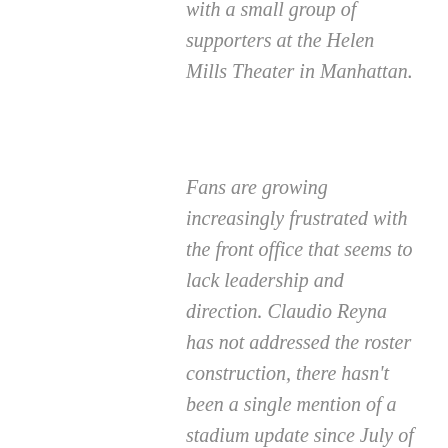with a small group of supporters at the Helen Mills Theater in Manhattan.
Fans are growing increasingly frustrated with the front office that seems to lack leadership and direction. Claudio Reyna has not addressed the roster construction, there hasn't been a single mention of a stadium update since July of 2018, and the neo-nazi / white supremacist issue was never formally addressed by the club. A little openness and honesty on these topics and more would create some long-needed goodwill between the organization and